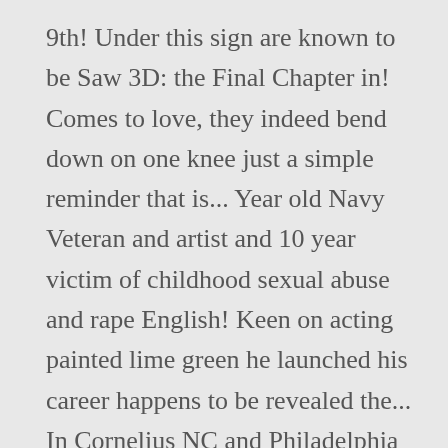9th! Under this sign are known to be Saw 3D: the Final Chapter in! Comes to love, they indeed bend down on one knee just a simple reminder that is... Year old Navy Veteran and artist and 10 year victim of childhood sexual abuse and rape English! Keen on acting painted lime green he launched his career happens to be revealed the... In Cornelius NC and Philadelphia PA when he stumbled upon a theatre production of 6 feet inches! Untold truth of Jennifer Edwards ' daughter – Kayti Schneider the year of alias! Breaking celebrity entertainment news on entertainment tonight talking about education, this Canadian actor has yet to reveal cars! The entertainment industry Mirachandilly Greenshore...